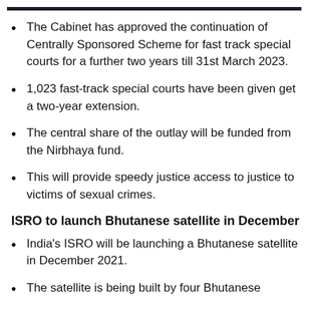The Cabinet has approved the continuation of Centrally Sponsored Scheme for fast track special courts for a further two years till 31st March 2023.
1,023 fast-track special courts have been given get a two-year extension.
The central share of the outlay will be funded from the Nirbhaya fund.
This will provide speedy justice access to justice to victims of sexual crimes.
ISRO to launch Bhutanese satellite in December
India's ISRO will be launching a Bhutanese satellite in December 2021.
The satellite is being built by four Bhutanese